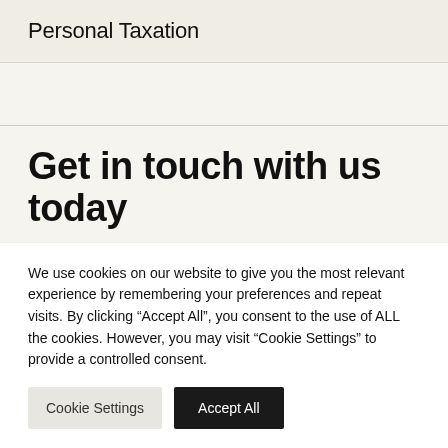Personal Taxation
Get in touch with us today
We use cookies on our website to give you the most relevant experience by remembering your preferences and repeat visits. By clicking “Accept All”, you consent to the use of ALL the cookies. However, you may visit “Cookie Settings” to provide a controlled consent.